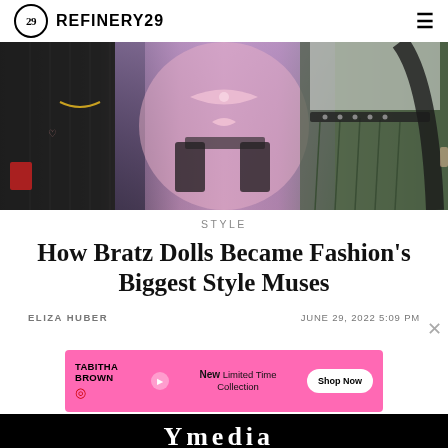REFINERY29
[Figure (photo): Fashion photo showing three figures from waist down: left figure in dark pinstripe shorts suit with gold chain accessories, center figure in pink lingerie-style outfit with black gloves and bow accessories, right figure in dark green pleated skirt with studded belt.]
STYLE
How Bratz Dolls Became Fashion's Biggest Style Muses
ELIZA HUBER
JUNE 29, 2022 5:09 PM
[Figure (advertisement): Pink advertisement banner for Tabitha Brown x Target featuring 'New Limited Time Collection' with a Shop Now button.]